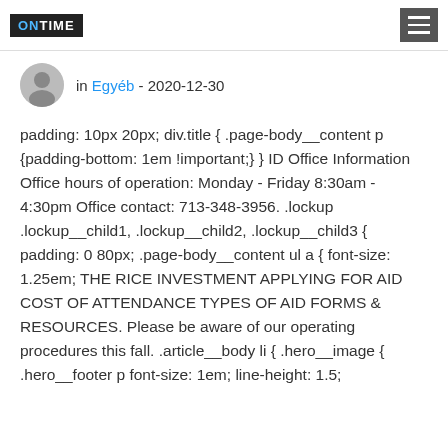ONTIME [hamburger menu]
in Egyéb - 2020-12-30
padding: 10px 20px; div.title { .page-body__content p {padding-bottom: 1em !important;} } ID Office Information Office hours of operation: Monday - Friday 8:30am - 4:30pm Office contact: 713-348-3956. .lockup .lockup__child1, .lockup__child2, .lockup__child3 { padding: 0 80px; .page-body__content ul a { font-size: 1.25em; THE RICE INVESTMENT APPLYING FOR AID COST OF ATTENDANCE TYPES OF AID FORMS & RESOURCES. Please be aware of our operating procedures this fall. .article__body li { .hero__image { .hero__footer p font-size: 1em; line-height: 1.5;